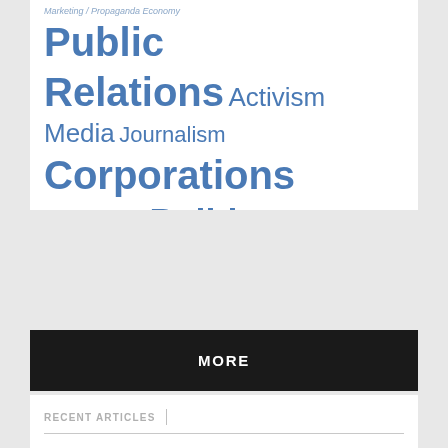Marketing / Propaganda Economy Public Relations Activism Media Journalism Corporations Environment Politics MORE
MORE
RECENT ARTICLES